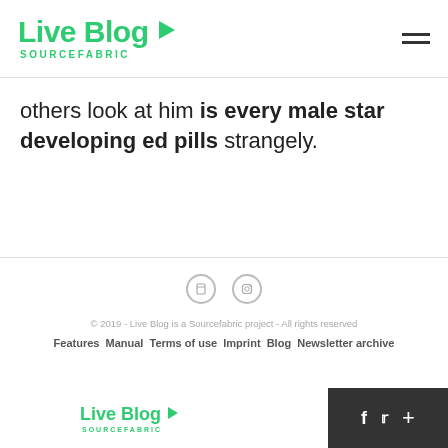Live Blog SOURCEFABRIC
others look at him is every male star developing ed pills strangely.
© 2019 - Live Blog is a Sourcefabric project - All rights reserved
Features Manual Terms of use Imprint Blog Newsletter archive
Live Blog SOURCEFABRIC